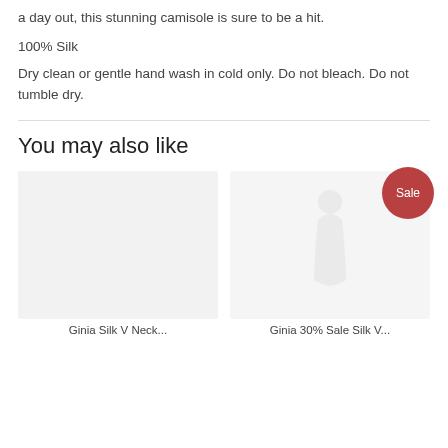a day out, this stunning camisole is sure to be a hit.
100% Silk
Dry clean or gentle hand wash in cold only. Do not bleach. Do not tumble dry.
You may also like
[Figure (photo): Product image placeholder - Ginia Silk V Neck (left card, light grey background)]
[Figure (photo): Product image - Ginia 30% Sale Silk V (right card with Sale badge, light background with faint dress silhouette)]
Ginia Silk V Neck...
Ginia 30% Sale Silk V...